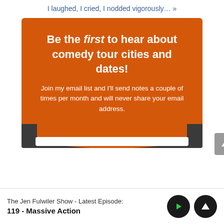I laughed, I cried, I nodded vigorously… »
[Figure (infographic): Orange banner promoting email list signup for comedy tour announcements. Headline: 'Be the first to hear about comedy tour cities and dates!' Subtitle: 'Join my email list and I'll send notes a couple of times per month and will never share your email address.' Dark curved footer section with white input field.]
The Jen Fulwiler Show - Latest Episode:
119 - Massive Action